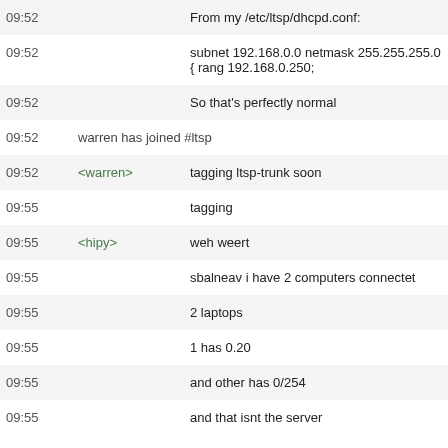| Time | Nick | Message |
| --- | --- | --- |
| 09:52 |  | From my /etc/ltsp/dhcpd.conf: |
| 09:52 |  | subnet 192.168.0.0 netmask 255.255.255.0 { rang 192.168.0.250; |
| 09:52 |  | So that's perfectly normal |
| 09:52 | warren has joined #ltsp |  |
| 09:52 | <warren> | tagging ltsp-trunk soon |
| 09:55 |  | tagging |
| 09:55 | <hipy> | weh weert |
| 09:55 |  | sbalneav i have 2 computers connectet |
| 09:55 |  | 2 laptops |
| 09:55 |  | 1 has 0.20 |
| 09:55 |  | and other has 0/254 |
| 09:55 |  | and that isnt the server |